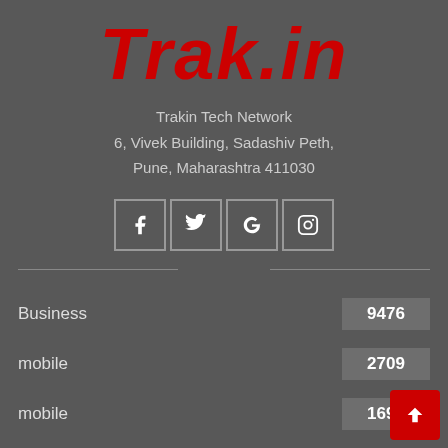Trak.in
Trakin Tech Network
6, Vivek Building, Sadashiv Peth,
Pune, Maharashtra 411030
[Figure (infographic): Social media icons: Facebook, Twitter, Google, Instagram in square bordered boxes]
Business — 9476
mobile — 2709
mobile — 1694
Telecom — 1000